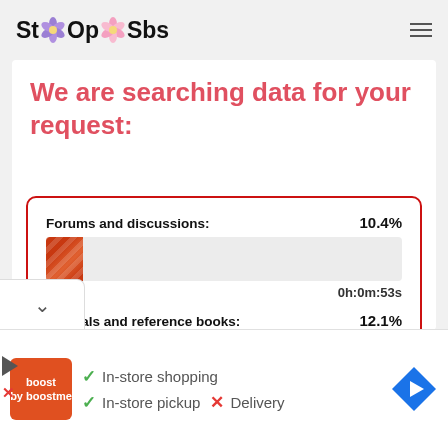[Figure (logo): StOp Sbs logo with purple and pink flower icons between letters]
We are searching data for your request:
Forums and discussions: 10.4%
0h:0m:53s
Manuals and reference books: 12.1%
0h:0m:8s
✓ In-store shopping
✓ In-store pickup  ✗ Delivery